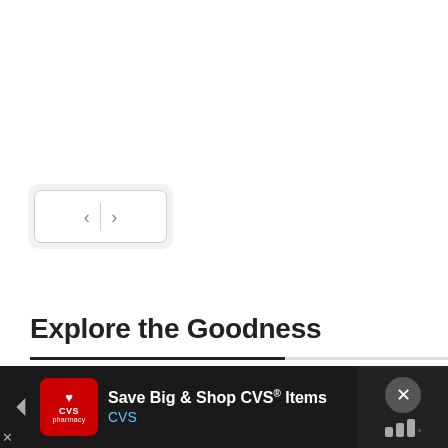[Figure (screenshot): Navigation carousel previous/next button control with left and right arrow chevrons separated by a vertical divider, styled with a light gray outer container and white inner rounded rectangle border.]
Explore the Goodness
Select Category
[Figure (screenshot): Advertisement banner for CVS pharmacy: 'Save Big & Shop CVS® Items' with CVS logo on left (red background with heart), blue direction-sign icon, and dismiss/close button on right with X symbol and bar chart icon.]